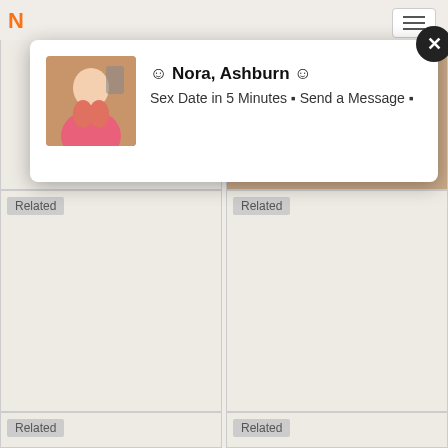NUDEAMTUREDPICS
[Figure (screenshot): Website popup notification with avatar photo of a woman in pink top taking selfie, name 'Nora, Ashburn', text 'Sex Date in 5 Minutes Send a Message', with close button]
Related
Related
Related
Related